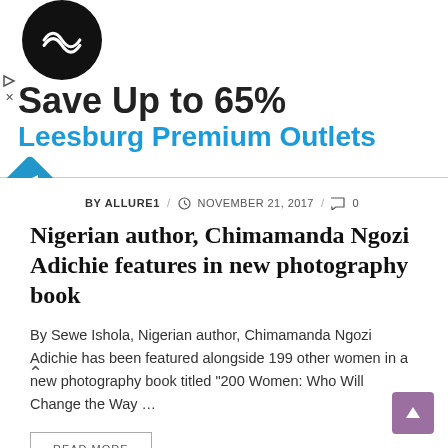[Figure (screenshot): Advertisement banner: Save Up to 65% Leesburg Premium Outlets with circular black logo and blue diamond navigation icon]
BY ALLURE1 / NOVEMBER 21, 2017 / 0
Nigerian author, Chimamanda Ngozi Adichie features in new photography book
By Sewe Ishola, Nigerian author, Chimamanda Ngozi Adichie has been featured alongside 199 other women in a new photography book titled “200 Women: Who Will Change the Way …
READ MORE
ALLURE MAGAZINE   FASHION & STYLE   NEWS